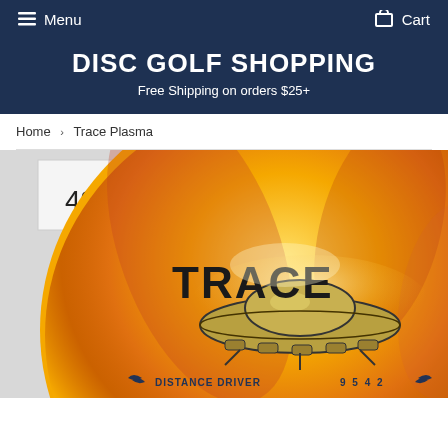Menu   Cart
DISC GOLF SHOPPING
Free Shipping on orders $25+
Home > Trace Plasma
[Figure (photo): Yellow/orange iridescent plasma disc golf disc labeled 'TRACE' with a UFO/spaceship graphic, distance driver, flight numbers 9 5 4 2, with a handwritten tag showing '493'.]